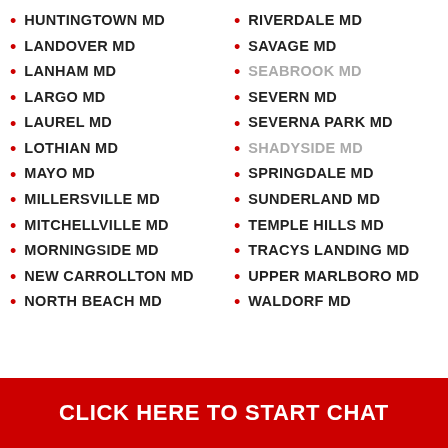HUNTINGTOWN MD
LANDOVER MD
LANHAM MD
LARGO MD
LAUREL MD
LOTHIAN MD
MAYO MD
MILLERSVILLE MD
MITCHELLVILLE MD
MORNINGSIDE MD
NEW CARROLLTON MD
NORTH BEACH MD
RIVERDALE MD
SAVAGE MD
SEABROOK MD
SEVERN MD
SEVERNA PARK MD
SHADYSIDE MD
SPRINGDALE MD
SUNDERLAND MD
TEMPLE HILLS MD
TRACYS LANDING MD
UPPER MARLBORO MD
WALDORF MD
CLICK HERE TO START CHAT